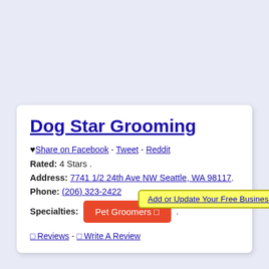Add or Update Your Free Business Listing
Dog Star Grooming
♥ Share on Facebook - Tweet - Reddit
Rated: 4 Stars .
Address: 7741 1/2 24th Ave NW Seattle, WA 98117.
Phone: (206) 323-2422
Specialties: Pet Groomers □ .
□ Reviews - □ Write A Review